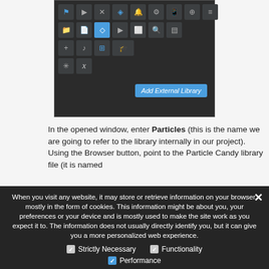[Figure (screenshot): Dark IDE toolbar screenshot showing icons and 'Add External Library' button in blue]
In the opened window, enter Particles (this is the name we are going to refer to the library internally in our project). Using the Browser button, point to the Particle Candy library file (it is named lib_particlecandy.jar) and press Create. With this information, iXml will...
When you visit any website, it may store or retrieve information on your browser, mostly in the form of cookies. This information might be about you, your preferences or your device and is mostly used to make the site work as you expect it to. The information does not usually directly identify you, but it can give you a more personalized web experience.
Strictly Necessary
Functionality
Performance
This website uses cookies to improve your experience. We'll assume you're ok with this, but you can opt-out if you wish.
Privacy Preferences
Accept   Read More
I Agree